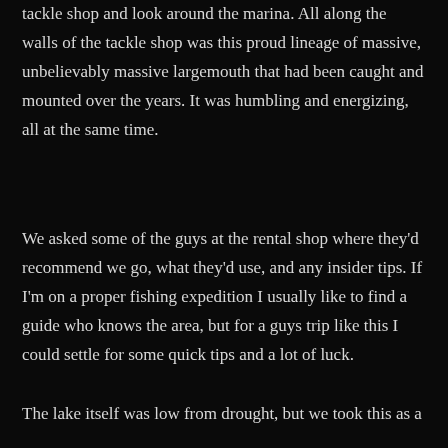tackle shop and look around the marina. All along the walls of the tackle shop was this proud lineage of massive, unbelievably massive largemouth that had been caught and mounted over the years. It was humbling and energizing, all at the same time.
We asked some of the guys at the rental shop where they'd recommend we go, what they'd use, and any insider tips. If I'm on a proper fishing expedition I usually like to find a guide who knows the area, but for a guys trip like this I could settle for some quick tips and a lot of luck.
The lake itself was low from drought, but we took this as a